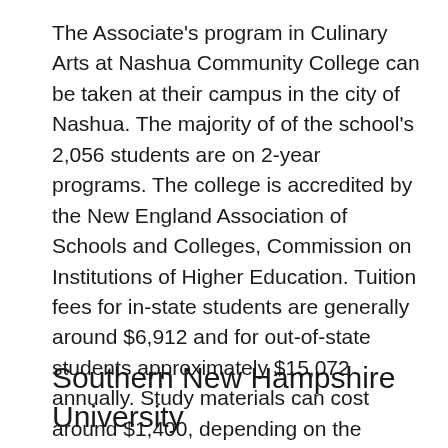The Associate's program in Culinary Arts at Nashua Community College can be taken at their campus in the city of Nashua. The majority of of the school's 2,056 students are on 2-year programs. The college is accredited by the New England Association of Schools and Colleges, Commission on Institutions of Higher Education. Tuition fees for in-state students are generally around $6,912 and for out-of-state students approximately $15,072 annually. Study materials can cost around $1,400, depending on the program chosen.
Southern New Hampshire University